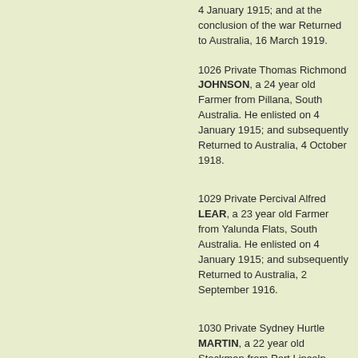4 January 1915; and at the conclusion of the war Returned to Australia, 16 March 1919.
1026 Private Thomas Richmond JOHNSON, a 24 year old Farmer from Pillana, South Australia. He enlisted on 4 January 1915; and subsequently Returned to Australia, 4 October 1918.
1029 Private Percival Alfred LEAR, a 23 year old Farmer from Yalunda Flats, South Australia. He enlisted on 4 January 1915; and subsequently Returned to Australia, 2 September 1916.
1030 Private Sydney Hurtle MARTIN, a 22 year old Stockman from Port Lincoln, South Australia. He enlisted on 5 January 1915; and subsequently Returned to...